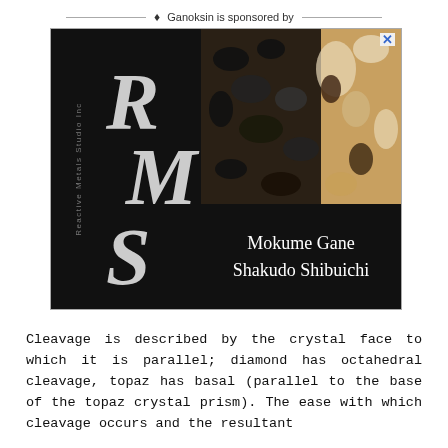♦ Ganoksin is sponsored by
[Figure (illustration): RMS Reactive Metals Studio Inc advertisement banner featuring the company logo on a black background on the left with text 'Mokume Gane Shakudo Shibuichi' and a metallic texture pattern image on the right.]
Cleavage is described by the crystal face to which it is parallel; diamond has octahedral cleavage, topaz has basal (parallel to the base of the topaz crystal prism). The ease with which cleavage occurs and the resultant smoothness of the cleavage plane is described